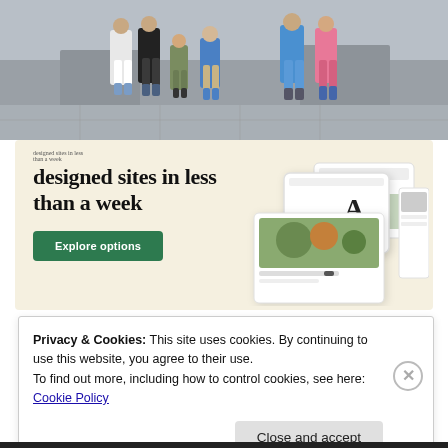[Figure (photo): A group of children and adults posing outdoors near stone structures, likely at a tourist or cultural site. They are wearing casual summer clothes.]
[Figure (screenshot): A website advertisement with a beige background showing the text 'designed sites in less than a week' with a green 'Explore options' button and mockup screenshots of web pages on the right side.]
Privacy & Cookies: This site uses cookies. By continuing to use this website, you agree to their use.
To find out more, including how to control cookies, see here: Cookie Policy
Close and accept